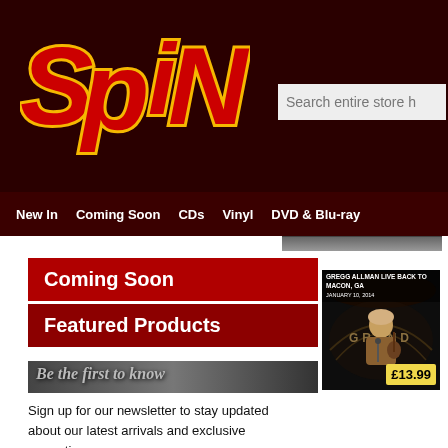[Figure (logo): SPIN store logo in red and yellow bubble letters on dark maroon background]
Search entire store h
New In   Coming Soon   CDs   Vinyl   DVD & Blu-ray
Coming Soon
Featured Products
[Figure (photo): Gregg Allman Live Back to Macon, GA album cover showing performer on stage with guitar]
Be the first to know
Sign up for our newsletter to stay updated about our latest arrivals and exclusive promotions